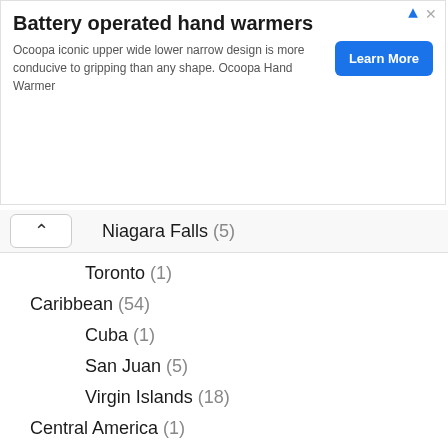[Figure (other): Advertisement banner for Battery operated hand warmers by Ocoopa with a Learn More button]
Niagara Falls (5)
Toronto (1)
Caribbean (54)
Cuba (1)
San Juan (5)
Virgin Islands (18)
Central America (1)
Costa Rica (1)
Europe (96)
Amsterdam (14)
France (2)
Germany (4)
Ibiza (2)
Kiev (1)